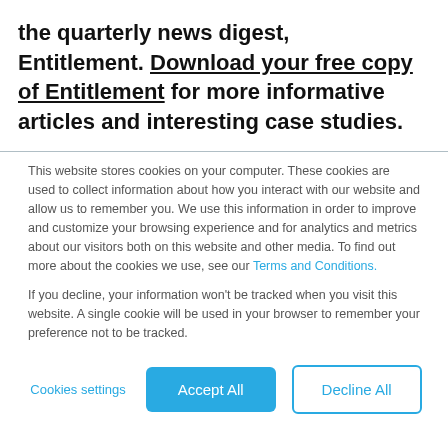the quarterly news digest, Entitlement. Download your free copy of Entitlement for more informative articles and interesting case studies.
This website stores cookies on your computer. These cookies are used to collect information about how you interact with our website and allow us to remember you. We use this information in order to improve and customize your browsing experience and for analytics and metrics about our visitors both on this website and other media. To find out more about the cookies we use, see our Terms and Conditions.

If you decline, your information won't be tracked when you visit this website. A single cookie will be used in your browser to remember your preference not to be tracked.
Cookies settings
Accept All
Decline All